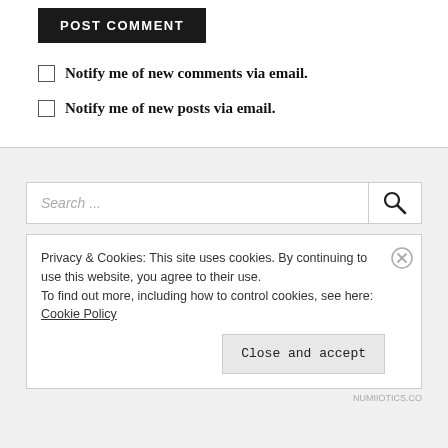POST COMMENT
Notify me of new comments via email.
Notify me of new posts via email.
Search ...
Privacy & Cookies: This site uses cookies. By continuing to use this website, you agree to their use.
To find out more, including how to control cookies, see here: Cookie Policy
Close and accept
NUMIIOTICS.CO